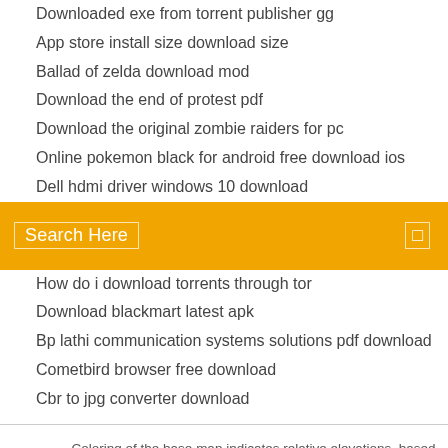Downloaded exe from torrent publisher gg
App store install size download size
Ballad of zelda download mod
Download the end of protest pdf
Download the original zombie raiders for pc
Online pokemon black for android free download ios
Dell hdmi driver windows 10 download
[Figure (screenshot): Orange search bar with 'Search Here' text and search icon]
How do i download torrents through tor
Download blackmart latest apk
Bp lathi communication systems solutions pdf download
Cometbird browser free download
Cbr to jpg converter download
Coloring of the base map indicates relative elevations, based on data from the Mars Orbiter Laser Altimeter on NASA's Mars Global Surveyor.